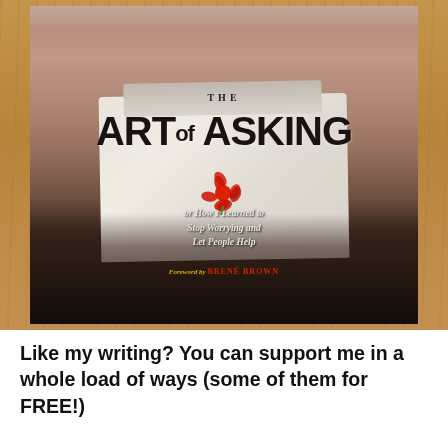[Figure (photo): A photograph of the book 'The Art of Asking: or How I Learned to Stop Worrying and Let People Help' with a Foreword by Brené Brown. The book cover shows a person holding a red flower, placed on a wooden surface.]
Like my writing? You can support me in a whole load of ways (some of them for FREE!)